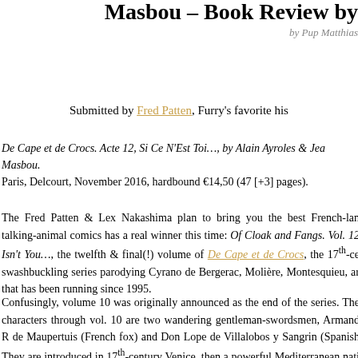Masbou – Book Review by
by Pup Matthias
Submitted by Fred Patten, Furry's favorite his
De Cape et de Crocs. Acte 12, Si Ce N'Est Toi…, by Alain Ayroles & Jea Masbou.
Paris, Delcourt, November 2016, hardbound €14,50 (47 [+3] pages).
The Fred Patten & Lex Nakashima plan to bring you the best French-lan talking-animal comics has a real winner this time: Of Cloak and Fangs. Vol. 12 Isn't You…, the twelfth & final(!) volume of De Cape et de Crocs, the 17th-ce swashbuckling series parodying Cyrano de Bergerac, Molière, Montesquieu, ar that has been running since 1995.
Confusingly, volume 10 was originally announced as the end of the series. The characters through vol. 10 are two wandering gentleman-swordsmen, Armand R de Maupertuis (French fox) and Don Lope de Villalobos y Sangrin (Spanish They are introduced in 17th-century Venice, then a powerful Mediterranean nati the first volume they are betrayed and sentenced to serve as galley-slaves in Ve